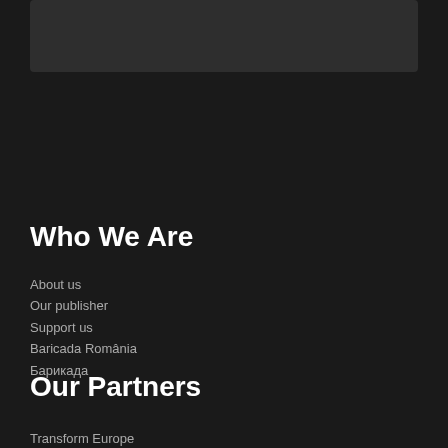[Figure (other): Dark gray rectangular image/banner at the top of the page]
Who We Are
About us
Our publisher
Support us
Baricada România
Барикада
Our Partners
Transform Europe
The Analysis